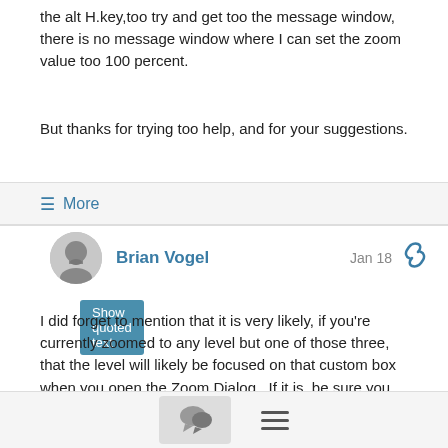the alt H.key,too try and get too the message window,  there is no message window where I can set the zoom value too 100 percent.
But thanks for trying too help, and for your suggestions.
Show quoted text
≡ More
Brian Vogel  Jan 18
I did forget to mention that it is very likely, if you're currently zoomed to any level but one of those three, that the level will likely be focused on that custom box when you open the Zoom Dialog.  If it is, be sure you jump back to the 100% radio button and activate it before hitting OK.  If you last zoomed to either 200% or 75% then the respective radio button for one of those values will likely be selected.
--